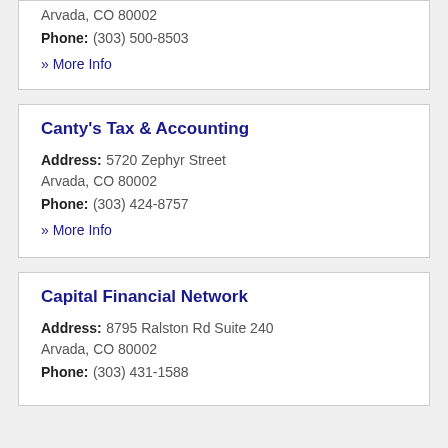Arvada, CO 80002
Phone: (303) 500-8503
» More Info
Canty's Tax & Accounting
Address: 5720 Zephyr Street Arvada, CO 80002
Phone: (303) 424-8757
» More Info
Capital Financial Network
Address: 8795 Ralston Rd Suite 240 Arvada, CO 80002
Phone: (303) 431-1588